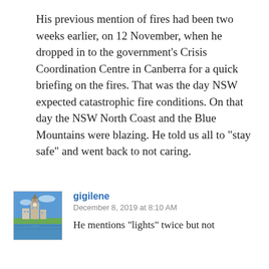His previous mention of fires had been two weeks earlier, on 12 November, when he dropped in to the government’s Crisis Coordination Centre in Canberra for a quick briefing on the fires. That was the day NSW expected catastrophic fire conditions. On that day the NSW North Coast and the Blue Mountains were blazing. He told us all to “stay safe” and went back to not caring.
[Figure (photo): Small square avatar image showing a building and waterfront scene with blue sky, used as a comment author profile picture.]
gigilene
December 8, 2019 at 8:10 AM
He mentions “lights” twice but not